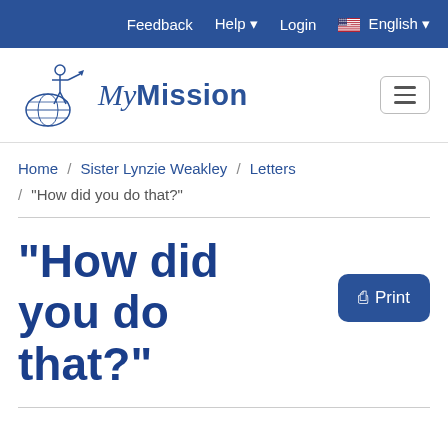Feedback  Help  Login  English
[Figure (logo): MyMission logo with globe and missionary figure illustration]
Home / Sister Lynzie Weakley / Letters / “How did you do that?”
“How did you do that?”